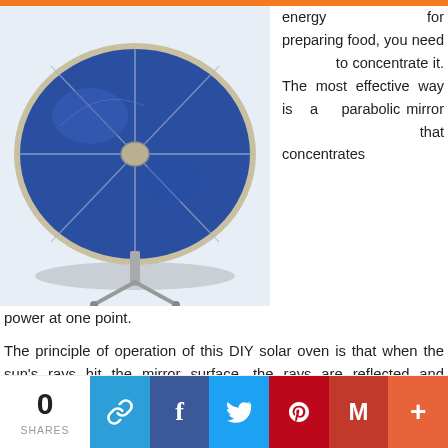[Figure (photo): Blue parabolic solar cooker dish on a stand viewed from above at an angle]
energy for preparing food, you need to concentrate it. The most effective way is a parabolic mirror that concentrates power at one point.
The principle of operation of this DIY solar oven is that when the sun's rays hit the mirror surface, the rays are reflected and accumulated at one point, like a Fresnel lens. This is due to the dish's parabolic shape, and the light beam is reflected at the same angle at which it hit the mirror surface.
0 SHARES [social share buttons: link, Facebook, Twitter, Pinterest, Gmail, More]